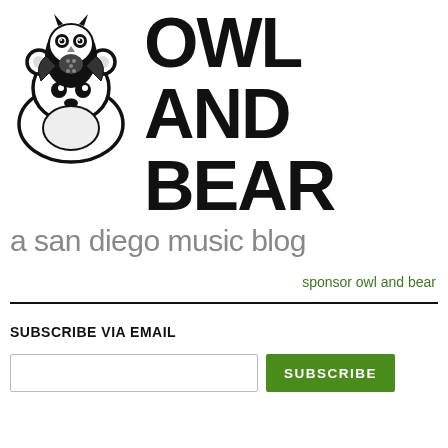[Figure (logo): Owl and Bear logo: stylized owl sitting on top of a bear, both rendered in black line art]
OWL AND BEAR
a san diego music blog
sponsor owl and bear
SUBSCRIBE VIA EMAIL